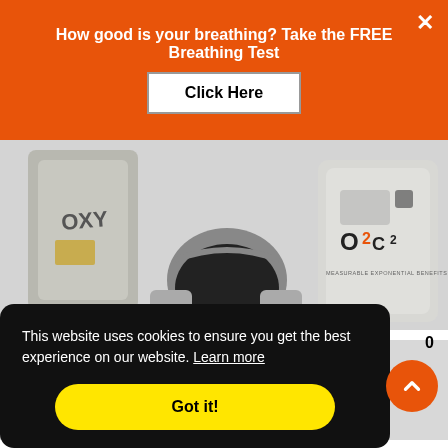How good is your breathing? Take the FREE Breathing Test
Click Here
[Figure (photo): Product photo showing three items: a grey bag/pouch with 'OXY' text, a half-face respirator mask on a wooden stand, and a grey device with O2C2 logo and 'MEASURABLE EXPONENTIAL BENEFITS' text]
This website uses cookies to ensure you get the best experience on our website. Learn more
Got it!